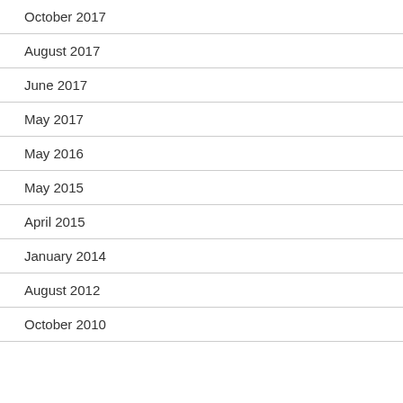October 2017
August 2017
June 2017
May 2017
May 2016
May 2015
April 2015
January 2014
August 2012
October 2010